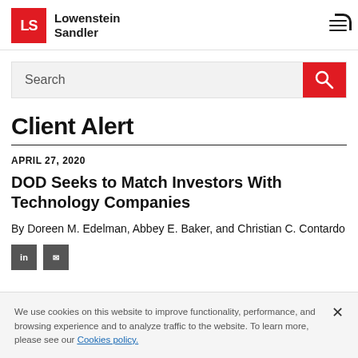[Figure (logo): Lowenstein Sandler law firm logo with red LS box and firm name text]
Search
Client Alert
APRIL 27, 2020
DOD Seeks to Match Investors With Technology Companies
By Doreen M. Edelman, Abbey E. Baker, and Christian C. Contardo
We use cookies on this website to improve functionality, performance, and browsing experience and to analyze traffic to the website. To learn more, please see our Cookies policy.